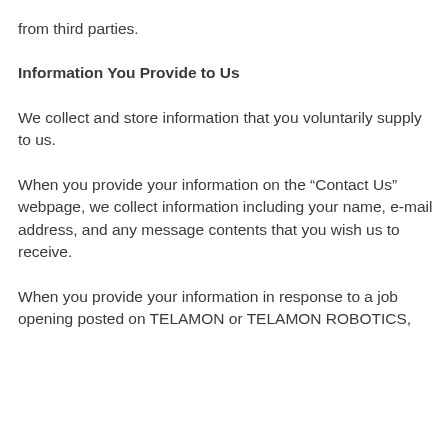from third parties.
Information You Provide to Us
We collect and store information that you voluntarily supply to us.
When you provide your information on the “Contact Us” webpage, we collect information including your name, e-mail address, and any message contents that you wish us to receive.
When you provide your information in response to a job opening posted on TELAMON or TELAMON ROBOTICS,